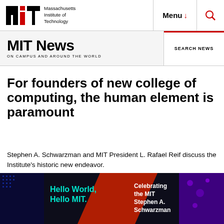Massachusetts Institute of Technology | Menu | Search
MIT News ON CAMPUS AND AROUND THE WORLD
For founders of new college of computing, the human element is paramount
Stephen A. Schwarzman and MIT President L. Rafael Reif discuss the Institute's historic new endeavor.
Peter Dizikes | MIT News Office
March 1, 2019
[Figure (photo): Event photograph showing a screen with text 'Hello World, Hello MIT.' and 'Celebrating the MIT Stephen A. Schwarzman' on a dark background with blue lighting]